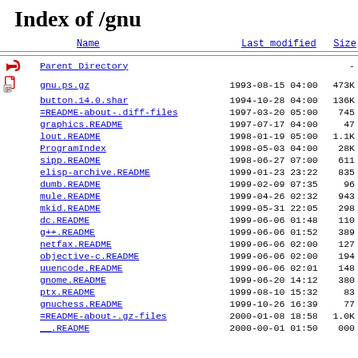Index of /gnu
| Name | Last modified | Size |
| --- | --- | --- |
| Parent Directory |  | - |
| gnu.ps.gz | 1993-08-15 04:00 | 473K |
| button.14.0.shar | 1994-10-28 04:00 | 136K |
| =README-about-.diff-files | 1997-03-20 05:00 | 745 |
| graphics.README | 1997-07-17 04:00 | 47 |
| lout.README | 1998-01-19 05:00 | 1.1K |
| ProgramIndex | 1998-05-03 04:00 | 28K |
| sipp.README | 1998-06-27 07:00 | 611 |
| elisp-archive.README | 1999-01-23 23:22 | 835 |
| dumb.README | 1999-02-09 07:35 | 96 |
| mule.README | 1999-04-26 02:32 | 943 |
| mkid.README | 1999-05-31 22:05 | 298 |
| dc.README | 1999-06-06 01:48 | 110 |
| g++.README | 1999-06-06 01:52 | 389 |
| netfax.README | 1999-06-06 02:00 | 127 |
| objective-c.README | 1999-06-06 02:00 | 194 |
| uuencode.README | 1999-06-06 02:01 | 148 |
| gnome.README | 1999-06-20 14:12 | 380 |
| ptx.README | 1999-08-10 15:32 | 83 |
| gnuchess.README | 1999-10-26 16:39 | 77 |
| =README-about-.gz-files | 2000-01-08 18:58 | 1.0K |
| __.README | 2000-00-01 01:50 | 000 |